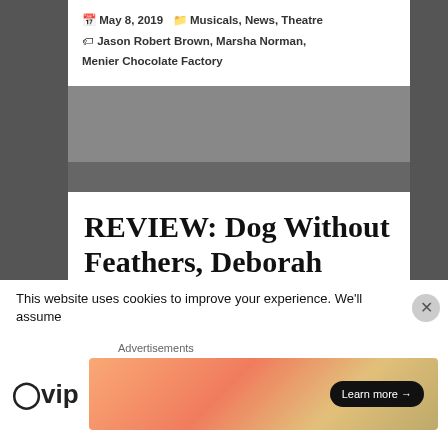May 8, 2019 | Musicals, News, Theatre | Jason Robert Brown, Marsha Norman, Menier Chocolate Factory
REVIEW: Dog Without Feathers, Deborah Colker Dance Company, Southbank Centre
Inspired by João Cabral de Melo Neto's masterpiece
This website uses cookies to improve your experience. We'll assume
Advertisements
[Figure (logo): WordPress VIP logo and advertisement banner with 'Learn more' button]